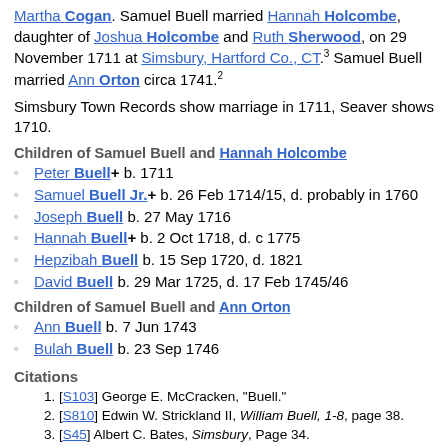Martha Cogan. Samuel Buell married Hannah Holcombe, daughter of Joshua Holcombe and Ruth Sherwood, on 29 November 1711 at Simsbury, Hartford Co., CT.3 Samuel Buell married Ann Orton circa 1741.2
Simsbury Town Records show marriage in 1711, Seaver shows 1710.
Children of Samuel Buell and Hannah Holcombe
Peter Buell+ b. 1711
Samuel Buell Jr.+ b. 26 Feb 1714/15, d. probably in 1760
Joseph Buell b. 27 May 1716
Hannah Buell+ b. 2 Oct 1718, d. c 1775
Hepzibah Buell b. 15 Sep 1720, d. 1821
David Buell b. 29 Mar 1725, d. 17 Feb 1745/46
Children of Samuel Buell and Ann Orton
Ann Buell b. 7 Jun 1743
Bulah Buell b. 23 Sep 1746
Citations
[S103] George E. McCracken, "Buell."
[S810] Edwin W. Strickland II, William Buell, 1-8, page 38.
[S45] Albert C. Bates, Simsbury, Page 34.